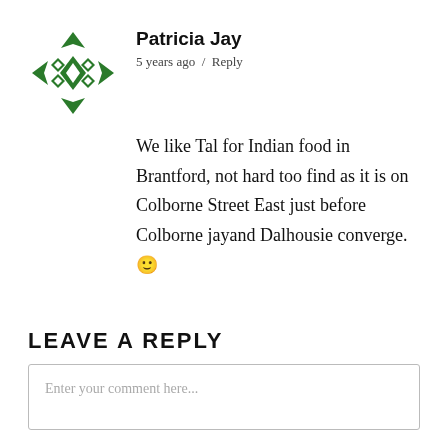[Figure (logo): Green geometric diamond/arrow cross logo (avatar for Patricia Jay)]
Patricia Jay
5 years ago / Reply
We like Tal for Indian food in Brantford, not hard too find as it is on Colborne Street East just before Colborne jayand Dalhousie converge. 🙂
LEAVE A REPLY
Enter your comment here...